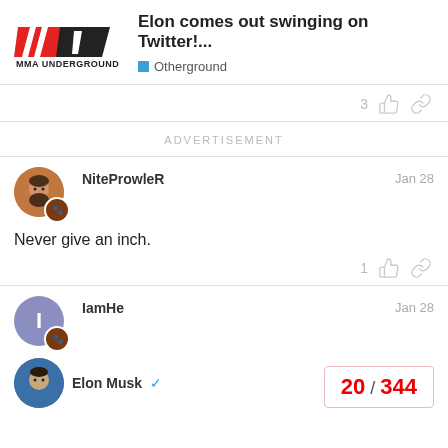Elon comes out swinging on Twitter!... — Otherground — MMA Underground
ADVERTISEMENT
NiteProwleR — Jan 28 — Never give an inch.
IamHe — Jan 28
Elon Musk
20 / 344